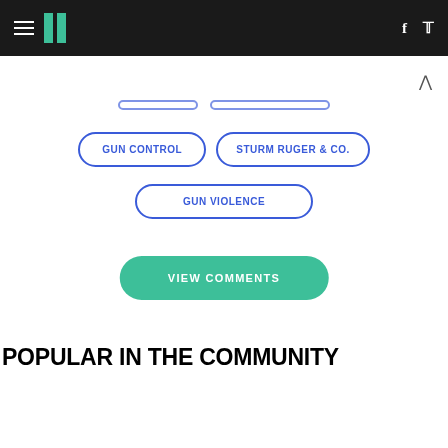HuffPost navigation header with hamburger menu, logo, Facebook and Twitter icons
GUN CONTROL
STURM RUGER & CO.
GUN VIOLENCE
VIEW COMMENTS
POPULAR IN THE COMMUNITY